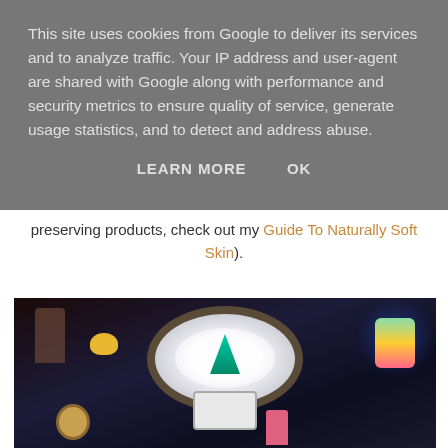This site uses cookies from Google to deliver its services and to analyze traffic. Your IP address and user-agent are shared with Google along with performance and security metrics to ensure quality of service, generate usage statistics, and to detect and address abuse.
LEARN MORE    OK
preserving products, check out my Guide To Naturally Soft Skin).
[Figure (photo): Overhead view of a Lush cosmetics store event or display with a large circular bath tub filled with white foam and a teal product, surrounded by colorful bath products, wooden furniture, sinks, drums, and people in a dark venue with blue lighting.]